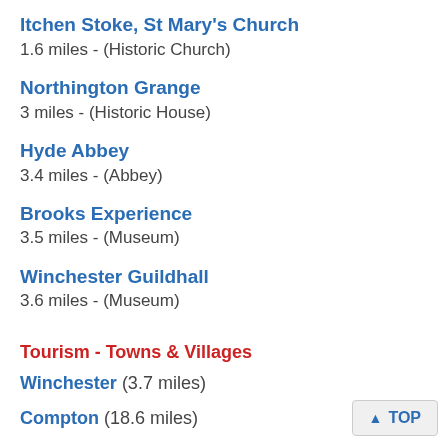Itchen Stoke, St Mary's Church
1.6 miles - (Historic Church)
Northington Grange
3 miles - (Historic House)
Hyde Abbey
3.4 miles - (Abbey)
Brooks Experience
3.5 miles - (Museum)
Winchester Guildhall
3.6 miles - (Museum)
Tourism - Towns & Villages
Winchester (3.7 miles)
Compton (18.6 miles)